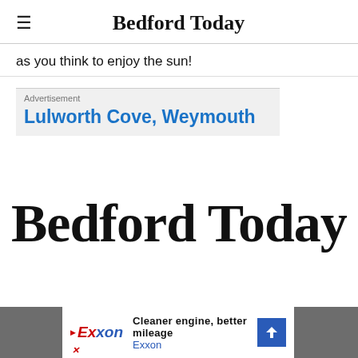Bedford Today
as you think to enjoy the sun!
[Figure (other): Advertisement box with text: Lulworth Cove, Weymouth (blue link text)]
[Figure (logo): Large Bedford Today logo in bold serif font]
[Figure (other): Exxon advertisement banner: Cleaner engine, better mileage. Exxon logo with blue arrow icon.]